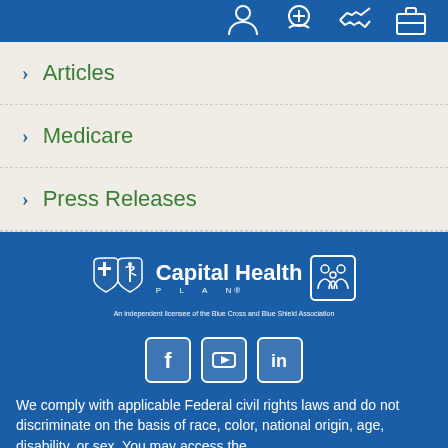Navigation header with icons
Articles
Medicare
Press Releases
[Figure (logo): Capital Health Plan logo with Blue Cross Blue Shield shield icons and family icon, with tagline 'An independent licensee of the Blue Cross and Blue Shield Association']
[Figure (infographic): Social media icons: Facebook, YouTube, LinkedIn]
We comply with applicable Federal civil rights laws and do not discriminate on the basis of race, color, national origin, age, disability, or sex. You may access the